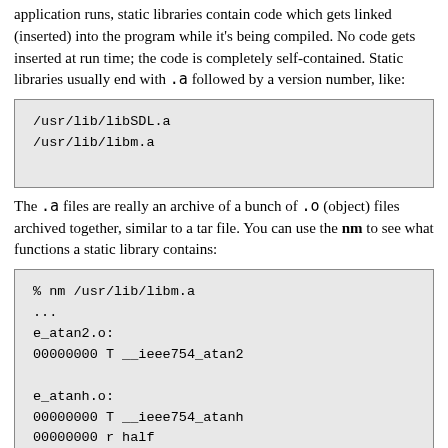application runs, static libraries contain code which gets linked (inserted) into the program while it's being compiled. No code gets inserted at run time; the code is completely self-contained. Static libraries usually end with .a followed by a version number, like:
/usr/lib/libSDL.a
/usr/lib/libm.a
The .a files are really an archive of a bunch of .o (object) files archived together, similar to a tar file. You can use the nm to see what functions a static library contains:
% nm /usr/lib/libm.a
...
e_atan2.o:
00000000 T __ieee754_atan2

e_atanh.o:
00000000 T __ieee754_atanh
00000000 r half
00000010 r limit
00000018 r ln2_2

...